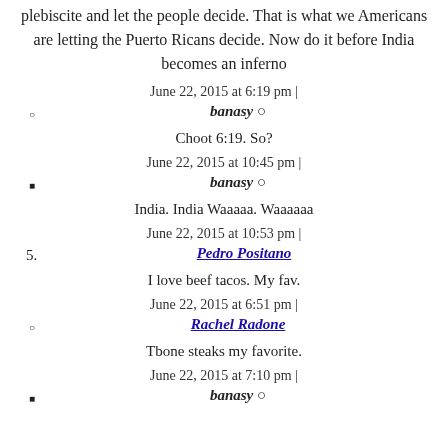plebiscite and let the people decide. That is what we Americans are letting the Puerto Ricans decide. Now do it before India becomes an inferno
June 22, 2015 at 6:19 pm |
banasy ○
Choot 6:19. So?
June 22, 2015 at 10:45 pm |
banasy ○
India. India Waaaaa. Waaaaaa
June 22, 2015 at 10:53 pm |
5. Pedro Positano
I love beef tacos. My fav.
June 22, 2015 at 6:51 pm |
Rachel Radone
Tbone steaks my favorite.
June 22, 2015 at 7:10 pm |
banasy ○